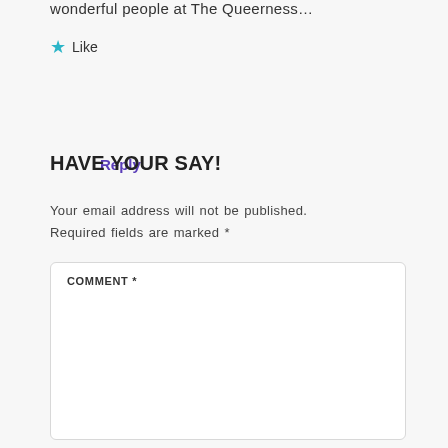wonderful people at The Queerness…
★ Like
Reply
HAVE YOUR SAY!
Your email address will not be published. Required fields are marked *
COMMENT *